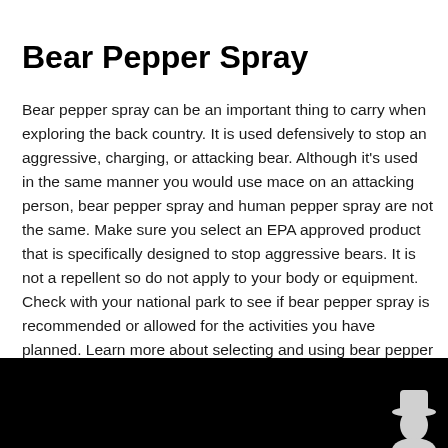Bear Pepper Spray
Bear pepper spray can be an important thing to carry when exploring the back country. It is used defensively to stop an aggressive, charging, or attacking bear. Although it's used in the same manner you would use mace on an attacking person, bear pepper spray and human pepper spray are not the same. Make sure you select an EPA approved product that is specifically designed to stop aggressive bears. It is not a repellent so do not apply to your body or equipment. Check with your national park to see if bear pepper spray is recommended or allowed for the activities you have planned. Learn more about selecting and using bear pepper spray in this introductory video or by visiting the Using Spray to Deter an Aggressive Bear page on Yellowstone's website.
[Figure (photo): Black thumbnail image of a video, with a silhouette of a person wearing a hat visible in the lower right corner.]